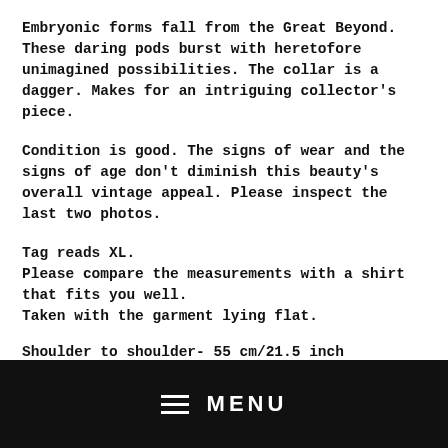Embryonic forms fall from the Great Beyond. These daring pods burst with heretofore unimagined possibilities. The collar is a dagger. Makes for an intriguing collector's piece.
Condition is good. The signs of wear and the signs of age don't diminish this beauty's overall vintage appeal. Please inspect the last two photos.
Tag reads XL.
Please compare the measurements with a shirt that fits you well.
Taken with the garment lying flat.
Shoulder to shoulder- 55 cm/21.5 inch
Chest- 66 cm/ 26 inch
Sleeve length (top side)- 66 cm/ 26 inch
Length- 70 cm/ 27.5 inch
MENU